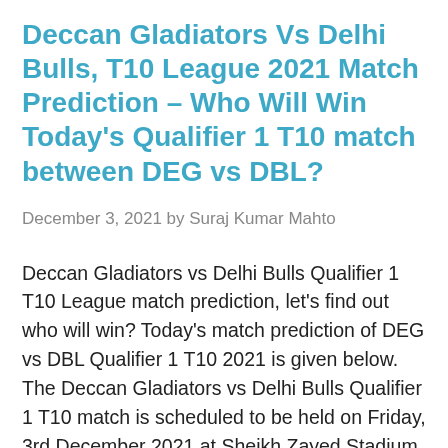Deccan Gladiators Vs Delhi Bulls, T10 League 2021 Match Prediction – Who Will Win Today's Qualifier 1 T10 match between DEG vs DBL?
December 3, 2021 by Suraj Kumar Mahto
Deccan Gladiators vs Delhi Bulls Qualifier 1 T10 League match prediction, let's find out who will win? Today's match prediction of DEG vs DBL Qualifier 1 T10 2021 is given below. The Deccan Gladiators vs Delhi Bulls Qualifier 1 T10 match is scheduled to be held on Friday, 3rd December 2021 at Sheikh Zayed Stadium, … Read more